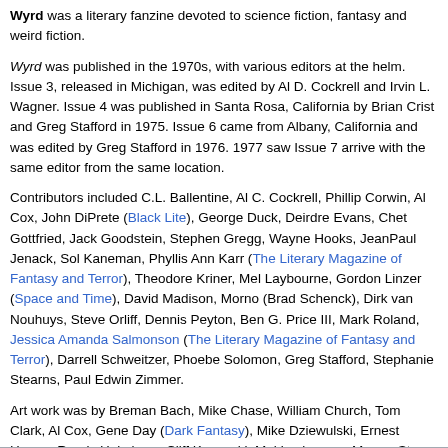Wyrd was a literary fanzine devoted to science fiction, fantasy and weird fiction.
Wyrd was published in the 1970s, with various editors at the helm. Issue 3, released in Michigan, was edited by Al D. Cockrell and Irvin L. Wagner. Issue 4 was published in Santa Rosa, California by Brian Crist and Greg Stafford in 1975. Issue 6 came from Albany, California and was edited by Greg Stafford in 1976. 1977 saw Issue 7 arrive with the same editor from the same location.
Contributors included C.L. Ballentine, Al C. Cockrell, Phillip Corwin, Al Cox, John DiPrete (Black Lite), George Duck, Deirdre Evans, Chet Gottfried, Jack Goodstein, Stephen Gregg, Wayne Hooks, JeanPaul Jenack, Sol Kaneman, Phyllis Ann Karr (The Literary Magazine of Fantasy and Terror), Theodore Kriner, Mel Laybourne, Gordon Linzer (Space and Time), David Madison, Morno (Brad Schenck), Dirk van Nouhuys, Steve Orliff, Dennis Peyton, Ben G. Price III, Mark Roland, Jessica Amanda Salmonson (The Literary Magazine of Fantasy and Terror), Darrell Schweitzer, Phoebe Solomon, Greg Stafford, Stephanie Stearns, Paul Edwin Zimmer.
Art work was by Breman Bach, Mike Chase, William Church, Tom Clark, Al Cox, Gene Day (Dark Fantasy), Mike Dziewulski, Ernest Hogan, Randy Holmberg, Cliff Kurowski, Mel Laybourne, Morno, Steve Oliff, Mark Roland, Tony Salmons, Mark Schrimeister, Rod Snyder, Peter Stokes, William H. Stout, Steve Swenston.